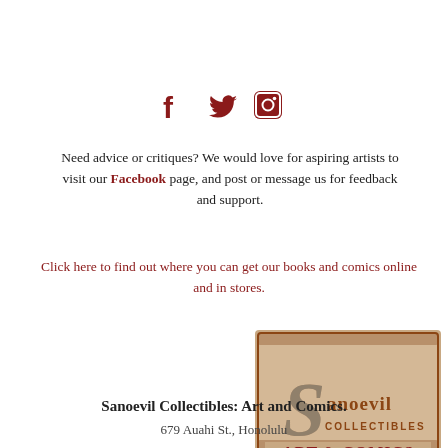[Figure (infographic): Social media icons: Facebook (f), Twitter (bird), Instagram (camera) in dark red/maroon color]
Need advice or critiques? We would love for aspiring artists to visit our Facebook page, and post or message us for feedback and support.
Click here to find out where you can get our books and comics online and in stores.
[Figure (logo): Sanoevil Collectibles Art and Comics store logo — vintage style sign with decorative lettering reading 'Sanoevil Collectibles ART & COMICS COMMISSIONS·BUY·SELL·TRADE']
Sanoevil Collectibles: Art and Comics.
679 Auahi St., Honolulu